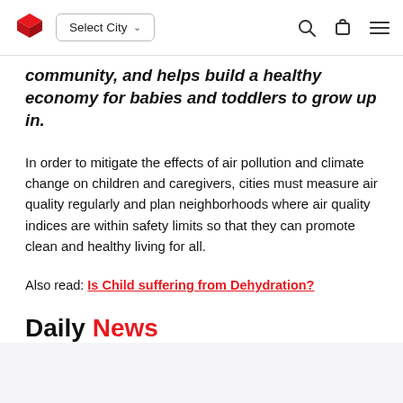Select City
community, and helps build a healthy economy for babies and toddlers to grow up in.
In order to mitigate the effects of air pollution and climate change on children and caregivers, cities must measure air quality regularly and plan neighborhoods where air quality indices are within safety limits so that they can promote clean and healthy living for all.
Also read: Is Child suffering from Dehydration?
Daily News